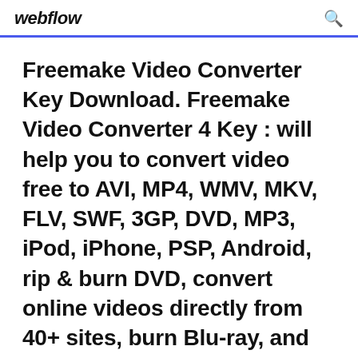webflow
Freemake Video Converter Key Download. Freemake Video Converter 4 Key : will help you to convert video free to AVI, MP4, WMV, MKV, FLV, SWF, 3GP, DVD, MP3, iPod, iPhone, PSP, Android, rip & burn DVD, convert online videos directly from 40+ sites, burn Blu-ray, and upload to YouTube! Take total control of the output result by customizing conversion parameters.